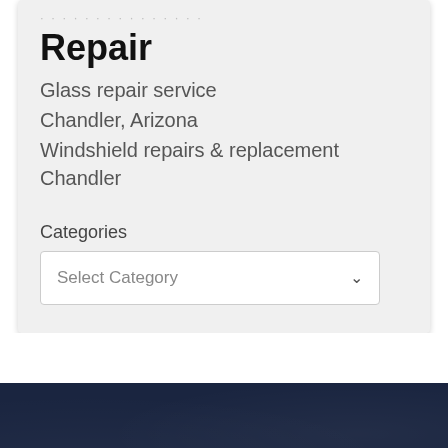Repair
Glass repair service
Chandler, Arizona
Windshield repairs & replacement Chandler
Categories
Select Category
Business Listings